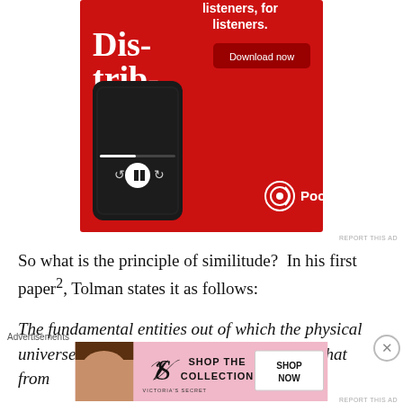[Figure (photo): Pocket Casts advertisement: red background with smartphone showing 'Dis-trib-uted' podcast app, text 'listeners, for listeners.', Download now button, Pocket Casts logo]
REPORT THIS AD
So what is the principle of similitude?  In his first paper², Tolman states it as follows:
The fundamental entities out of which the physical universe is constructed are of such a nature that from
Advertisements
[Figure (photo): Victoria's Secret advertisement: model face on left, VS logo, SHOP THE COLLECTION text, SHOP NOW button]